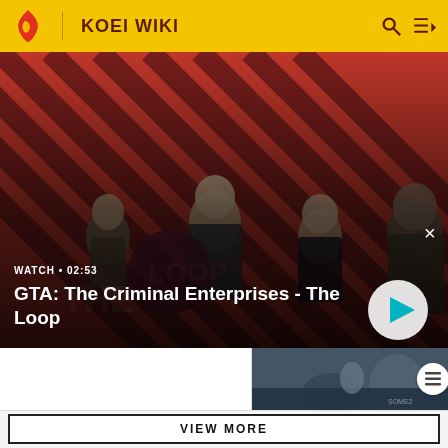KOEI WIKI
[Figure (screenshot): Video banner showing GTA: The Criminal Enterprises - The Loop promotional image with characters on a red striped background, watch duration 02:53, play button on right side and close button top right]
[Figure (screenshot): Thumbnail image showing a dark game scene with armored characters]
VIEW MORE